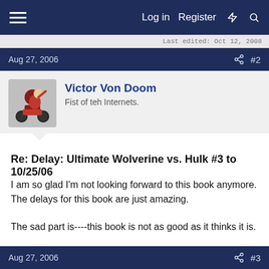≡  Log in  Register  ⚡  🔍
Last edited: Oct 12, 2008
Aug 27, 2006  #2
Victor Von Doom
Fist of teh Internets.
Re: Delay: Ultimate Wolverine vs. Hulk #3 to 10/25/06
I am so glad I'm not looking forward to this book anymore. The delays for this book are just amazing.
The sad part is----this book is not as good as it thinks it is.
Aug 27, 2006  #3
Fiffis
Member